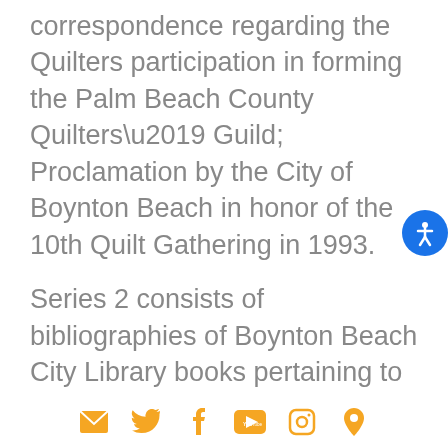correspondence regarding the Quilters participation in forming the Palm Beach County Quilters’ Guild; Proclamation by the City of Boynton Beach in honor of the 10th Quilt Gathering in 1993.
Series 2 consists of bibliographies of Boynton Beach City Library books pertaining to quilting.
Series 3 is correspondence that pertains to the Boynton Beach Library Quilters.
Series 4 consists of member directories with the phone number and mailing
[social media icons: email, twitter, facebook, youtube, instagram, location]